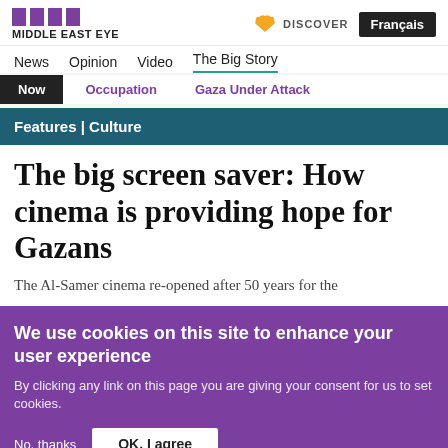MIDDLE EAST EYE | DISCOVER | Français
News | Opinion | Video | The Big Story
Now | Occupation | Gaza Under Attack
Features | Culture
The big screen saver: How cinema is providing hope for Gazans
The Al-Samer cinema re-opened after 50 years for the
We use cookies on this site to enhance your user experience
By clicking any link on this page you are giving your consent for us to set cookies.
No, thanks | OK, I agree